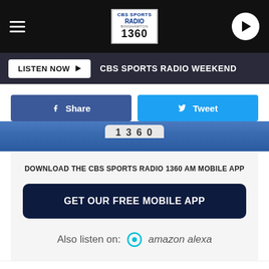[Figure (screenshot): CBS Sports Radio 1360 mobile app website screenshot showing navigation bar with hamburger menu, CBS Sports Radio Binghamton 1360 logo, play button, Listen Now button with CBS Sports Radio Weekend text, Facebook Share and Twitter Tweet buttons, partial station logo, app download card with GET OUR FREE MOBILE APP button, Amazon Alexa listen option, and bottom action row with like count 14, Reply, and Copy link.]
CBS SPORTS RADIO WEEKEND
DOWNLOAD THE CBS SPORTS RADIO 1360 AM MOBILE APP
GET OUR FREE MOBILE APP
Also listen on:  amazon alexa
14  Reply  Copy link